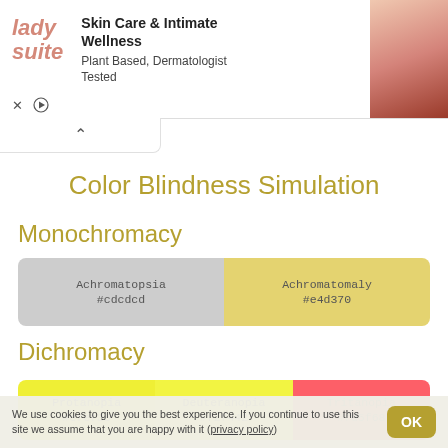[Figure (screenshot): Lady Suite advertisement banner: logo on left, 'Skin Care & Intimate Wellness / Plant Based, Dermatologist Tested', product image on right]
Color Blindness Simulation
Monochromacy
| Achromatopsia | Achromatomaly |
| --- | --- |
| #cdcdcd | #e4d370 |
Dichromacy
| Protanopia | Deuteranopia | Tritanopia |
| --- | --- | --- |
| #efef35 | #f2f442 | #fd5f68 |
We use cookies to give you the best experience. If you continue to use this site we assume that you are happy with it (privacy policy)